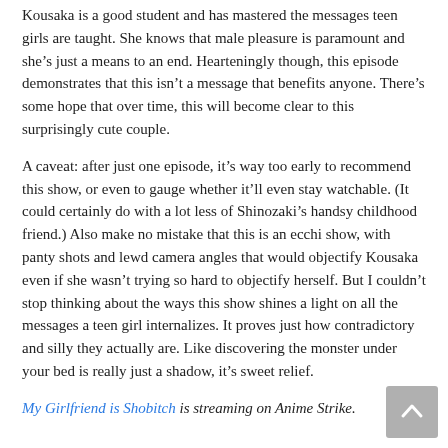Kousaka is a good student and has mastered the messages teen girls are taught. She knows that male pleasure is paramount and she's just a means to an end. Hearteningly though, this episode demonstrates that this isn't a message that benefits anyone. There's some hope that over time, this will become clear to this surprisingly cute couple.
A caveat: after just one episode, it's way too early to recommend this show, or even to gauge whether it'll even stay watchable. (It could certainly do with a lot less of Shinozaki's handsy childhood friend.) Also make no mistake that this is an ecchi show, with panty shots and lewd camera angles that would objectify Kousaka even if she wasn't trying so hard to objectify herself. But I couldn't stop thinking about the ways this show shines a light on all the messages a teen girl internalizes. It proves just how contradictory and silly they actually are. Like discovering the monster under your bed is really just a shadow, it's sweet relief.
My Girlfriend is Shobitch is streaming on Anime Strike.